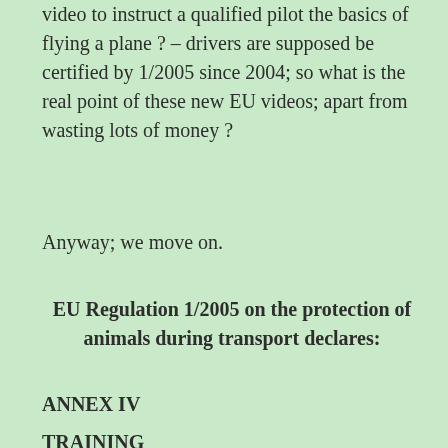video to instruct a qualified pilot the basics of flying a plane ? – drivers are supposed be certified by 1/2005 since 2004; so what is the real point of these new EU videos; apart from wasting lots of money ?
Anyway; we move on.
EU Regulation 1/2005 on the protection of animals during transport declares:
ANNEX IV
TRAINING